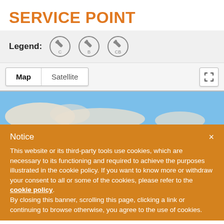SERVICE POINT
[Figure (infographic): Legend bar showing three service point icons in circles labeled C, B, and CB (wrench icons)]
[Figure (map): Google Maps interface with Map/Satellite toggle and fullscreen button, showing a blue map area with land masses]
Notice

This website or its third-party tools use cookies, which are necessary to its functioning and required to achieve the purposes illustrated in the cookie policy. If you want to know more or withdraw your consent to all or some of the cookies, please refer to the cookie policy.
By closing this banner, scrolling this page, clicking a link or continuing to browse otherwise, you agree to the use of cookies.